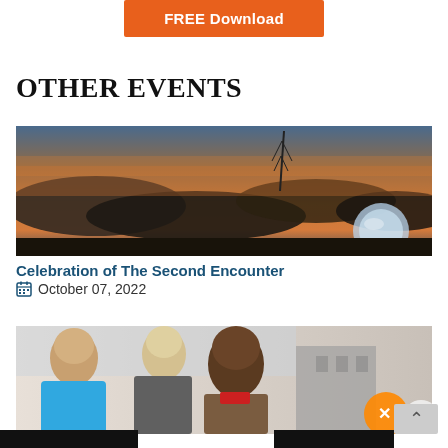[Figure (other): Orange FREE Download button at top center]
OTHER EVENTS
[Figure (photo): Scenic landscape with dramatic orange and pink sunset sky, dark clouds, tall antenna/tower structure, and a glowing spherical object in lower right]
Celebration of The Second Encounter
October 07, 2022
[Figure (photo): Group of smiling diverse people outdoors in an urban setting, with an Avast antivirus mascot/logo visible in lower right corner]